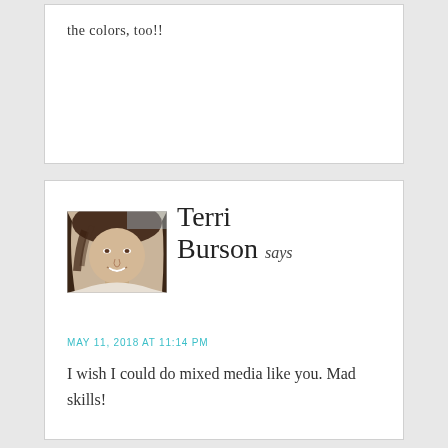the colors, too!!
[Figure (photo): Sepia-toned profile photo of Terri Burson, a woman with long dark hair, smiling, appears to be in a car]
Terri Burson says
MAY 11, 2018 AT 11:14 PM
I wish I could do mixed media like you. Mad skills!